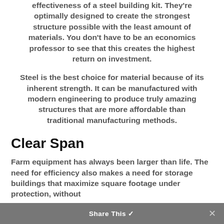effectiveness of a steel building kit. They're optimally designed to create the strongest structure possible with the least amount of materials. You don't have to be an economics professor to see that this creates the highest return on investment.
Steel is the best choice for material because of its inherent strength. It can be manufactured with modern engineering to produce truly amazing structures that are more affordable than traditional manufacturing methods.
Clear Span
Farm equipment has always been larger than life. The need for efficiency also makes a need for storage buildings that maximize square footage under protection, without
Share This ✓